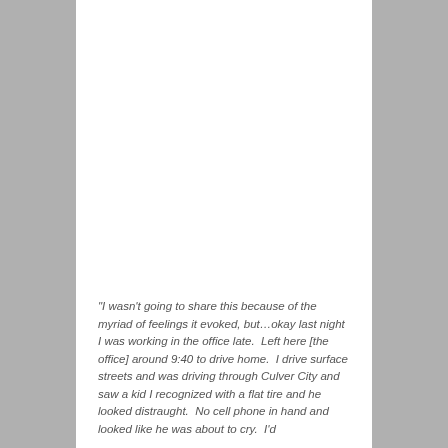“I wasn’t going to share this because of the myriad of feelings it evoked, but…okay last night I was working in the office late.  Left here [the office] around 9:40 to drive home.  I drive surface streets and was driving through Culver City and saw a kid I recognized with a flat tire and he looked distraught.  No cell phone in hand and looked like he was about to cry.  I’d